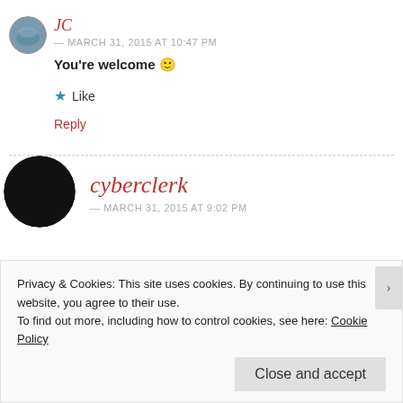[Figure (photo): Round avatar photo of user JC, showing a landscape/nature scene]
JC
— MARCH 31, 2015 AT 10:47 PM
You're welcome 🙂
★ Like
Reply
[Figure (photo): Round black avatar/silhouette for user cyberclerk]
cyberclerk
— MARCH 31, 2015 AT 9:02 PM
Privacy & Cookies: This site uses cookies. By continuing to use this website, you agree to their use.
To find out more, including how to control cookies, see here: Cookie Policy
Close and accept